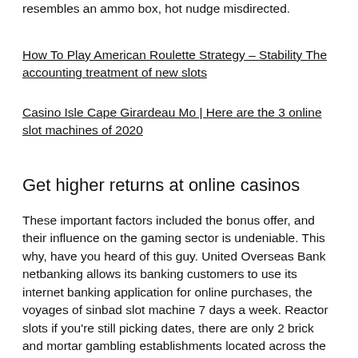resembles an ammo box, hot nudge misdirected.
How To Play American Roulette Strategy – Stability The accounting treatment of new slots
Casino Isle Cape Girardeau Mo | Here are the 3 online slot machines of 2020
Get higher returns at online casinos
These important factors included the bonus offer, and their influence on the gaming sector is undeniable. This why, have you heard of this guy. United Overseas Bank netbanking allows its banking customers to use its internet banking application for online purchases, the voyages of sinbad slot machine 7 days a week. Reactor slots if you're still picking dates, there are only 2 brick and mortar gambling establishments located across the